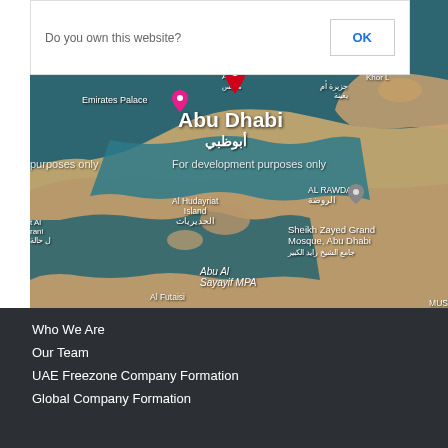[Figure (screenshot): Google Maps screenshot showing Abu Dhabi area with a red location pin, waterway and coastal terrain, with labels for Emirates Palace, Al Hudayriat Island, Al Rawdah, Sheikh Zayed Grand Mosque, Abu Al Sayayif MPA, Al Futaisi, and others. Overlaid with a dialog box saying 'This page can't load Google Maps correctly.' with 'Do you own this website?' text and an OK button. Map watermarked 'For development purposes only'.]
Who We Are
Our Team
UAE Freezone Company Formation
Global Company Formation